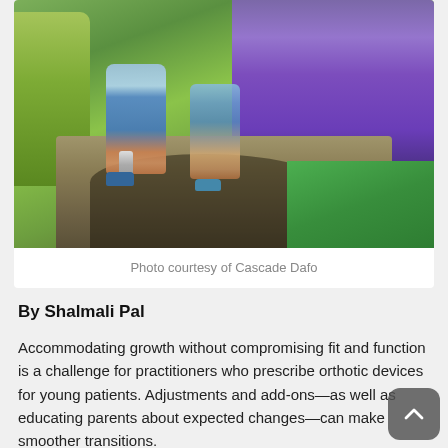[Figure (photo): Two children walking on a stone garden path flanked by lavender flowers and green plants. The child on the left is wearing an orthotic brace on the lower leg with pink accents and teal shoes.]
Photo courtesy of Cascade Dafo
By Shalmali Pal
Accommodating growth without compromising fit and function is a challenge for practitioners who prescribe orthotic devices for young patients. Adjustments and add-ons—as well as educating parents about expected changes—can make smoother transitions.
YouTube is a treasure trove of feel-good videos featuring